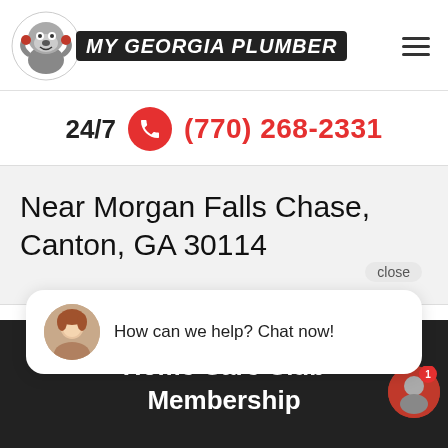[Figure (logo): My Georgia Plumber logo with bulldog mascot and bold italic text on dark background]
24/7  (770) 268-2331
Near Morgan Falls Chase, Canton, GA 30114
close
How can we help? Chat now!
Home Care Club Membership